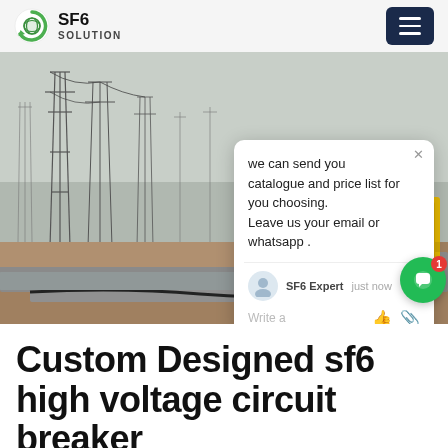SF6 SOLUTION
[Figure (photo): Outdoor high-voltage electrical substation with transmission towers and a yellow SF6 gas service truck, with a live chat popup overlay showing 'we can send you catalogue and price list for you choosing. Leave us your email or whatsapp .' attributed to SF6 Expert]
Custom Designed sf6 high voltage circuit breaker